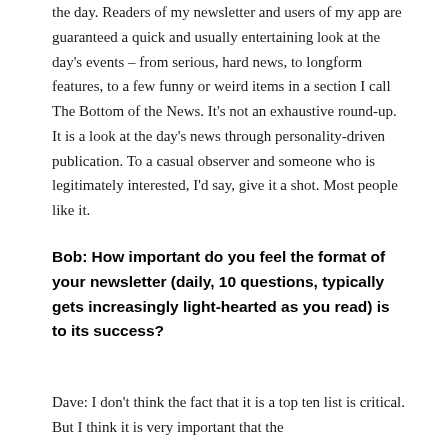the day. Readers of my newsletter and users of my app are guaranteed a quick and usually entertaining look at the day's events – from serious, hard news, to longform features, to a few funny or weird items in a section I call The Bottom of the News. It's not an exhaustive round-up. It is a look at the day's news through personality-driven publication. To a casual observer and someone who is legitimately interested, I'd say, give it a shot. Most people like it.
Bob: How important do you feel the format of your newsletter (daily, 10 questions, typically gets increasingly light-hearted as you read) is to its success?
Dave: I don't think the fact that it is a top ten list is critical. But I think it is very important that the